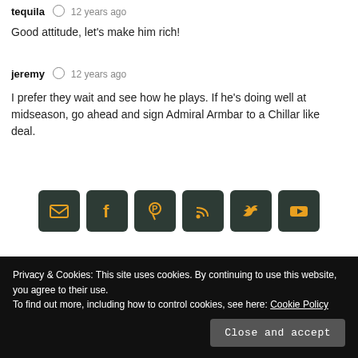tequila  12 years ago
Good attitude, let's make him rich!
jeremy  12 years ago
I prefer they wait and see how he plays. If he's doing well at midseason, go ahead and sign Admiral Armbar to a Chillar like deal.
[Figure (infographic): Row of 6 dark green social media icon buttons: email, facebook, pinterest, RSS, twitter, youtube — icons in gold/amber color]
Privacy & Cookies: This site uses cookies. By continuing to use this website, you agree to their use. To find out more, including how to control cookies, see here: Cookie Policy
Close and accept